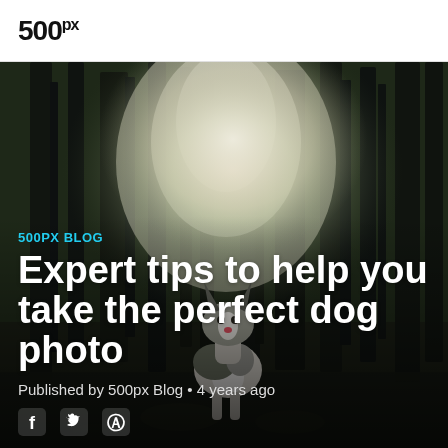500px
[Figure (photo): A border collie dog sitting in a misty forest with tall dark trees and bright backlight filtering through the canopy]
500PX BLOG
Expert tips to help you take the perfect dog photo
Published by 500px Blog • 4 years ago